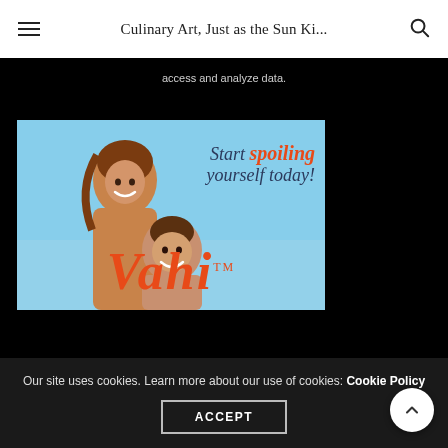Culinary Art, Just as the Sun Ki...
access and analyze data.
[Figure (photo): Advertisement for Vahi brand showing a smiling couple outdoors with text 'Start spoiling yourself today!' and the Vahi brand logo in orange script]
Our site uses cookies. Learn more about our use of cookies: Cookie Policy
ACCEPT